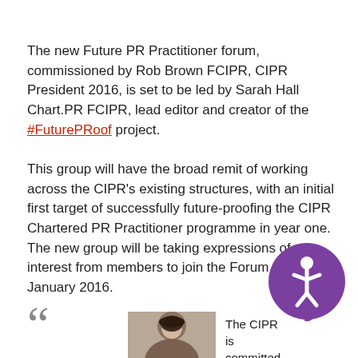The new Future PR Practitioner forum, commissioned by Rob Brown FCIPR, CIPR President 2016, is set to be led by Sarah Hall Chart.PR FCIPR, lead editor and creator of the #FuturePRoof project.
This group will have the broad remit of working across the CIPR's existing structures, with an initial first target of successfully future-proofing the CIPR Chartered PR Practitioner programme in year one. The new group will be taking expressions of interest from members to join the Forum in early January 2016.
[Figure (photo): Headshot photo of a person, partially visible at bottom of page]
The CIPR is committed to en... g